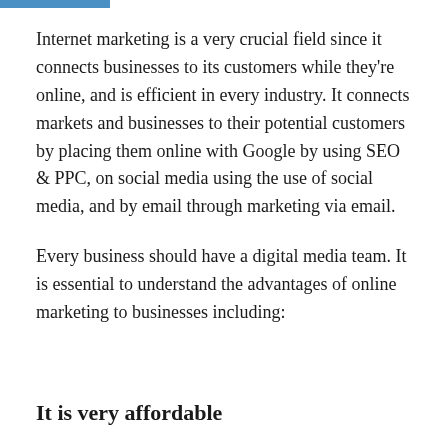Internet marketing is a very crucial field since it connects businesses to its customers while they're online, and is efficient in every industry. It connects markets and businesses to their potential customers by placing them online with Google by using SEO & PPC, on social media using the use of social media, and by email through marketing via email.
Every business should have a digital media team. It is essential to understand the advantages of online marketing to businesses including:
It is very affordable